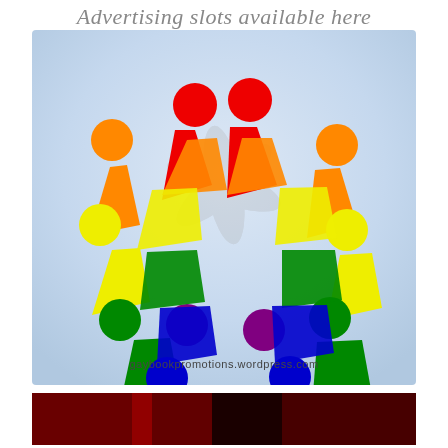Advertising slots available here
[Figure (illustration): Rainbow-colored circular logo with stylized human figures and circles arranged in a pinwheel pattern, with text 'gaybookpromotions.wordpress.com' at the bottom, on a light blue gradient background]
[Figure (photo): Partially visible dark image with red tones at the bottom of the page]